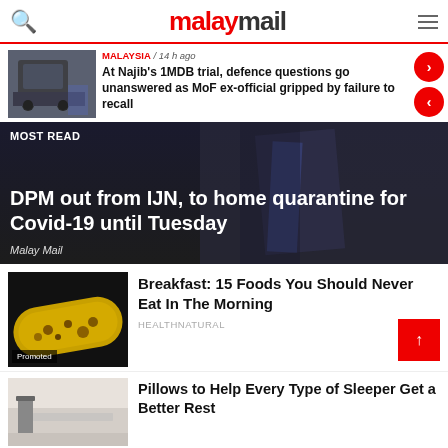malaymail
MALAYSIA / 14 h ago
At Najib’s 1MDB trial, defence questions go unanswered as MoF ex-official gripped by failure to recall
MOST READ
DPM out from IJN, to home quarantine for Covid-19 until Tuesday
Malay Mail
Breakfast: 15 Foods You Should Never Eat In The Morning
HEALTHNATURAL
Pillows to Help Every Type of Sleeper Get a Better Rest